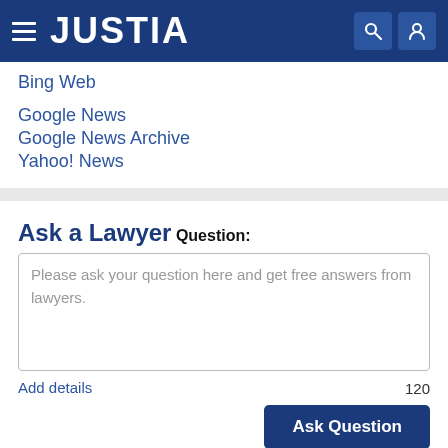JUSTIA
Bing Web
Google News
Google News Archive
Yahoo! News
Ask a Lawyer
Question:
Please ask your question here and get free answers from lawyers.
Add details
120
Ask Question